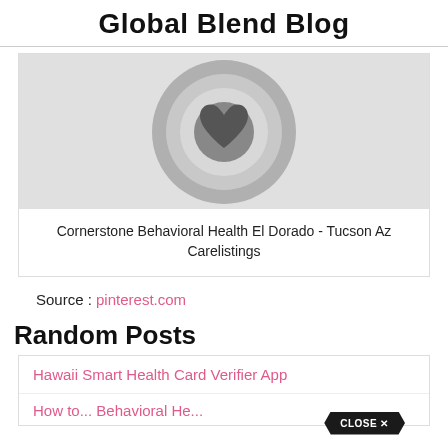Global Blend Blog
[Figure (illustration): A donut/circle icon with concentric rings in shades of gray, featuring a heart shape in the center, on a light gray background.]
Cornerstone Behavioral Health El Dorado - Tucson Az Carelistings
Source : pinterest.com
Random Posts
Hawaii Smart Health Card Verifier App
How to... Behavioral He...